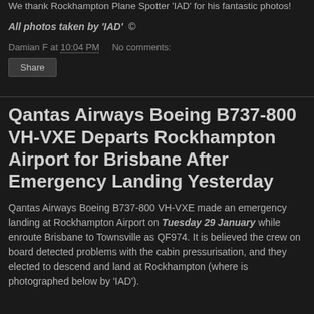We thank Rockhampton Plane Spotter 'IAD' for his fantastic photos!
All photos taken by 'IAD'  ©
Damian F at 10:04 PM    No comments:
Share
Qantas Airways Boeing B737-800 VH-VXE Departs Rockhampton Airport for Brisbane After Emergency Landing Yesterday
Qantas Airways Boeing B737-800 VH-VXE made an emergency landing at Rockhampton Airport on Tuesday 29 January while enroute Brisbane to Townsville as QF974.  It is believed the crew on board detected problems with the cabin pressurisation, and they elected to descend and land at Rockhampton (where is photographed below by 'IAD').